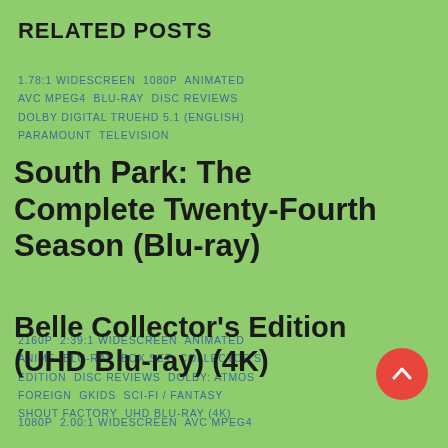RELATED POSTS
1.78:1 WIDESCREEN  1080P  ANIMATED  AVC MPEG4  BLU-RAY  DISC REVIEWS  DOLBY DIGITAL TRUEHD 5.1 (ENGLISH)  PARAMOUNT  TELEVISION
South Park: The Complete Twenty-Fourth Season (Blu-ray)
2160P  2:39:1 WIDESCREEN  ANIMATED  ANIME  BLU-RAY  BOX SET  COLLECTOR'S EDITION  DISC REVIEWS  DOLBY: ATMOS  FOREIGN  GKIDS  SCI-FI / FANTASY  SHOUT FACTORY  UHD BLU-RAY (4K)
Belle Collector's Edition (UHD Blu-ray) (4K)
1080P  2.00:1 WIDESCREEN  AVC MPEG4